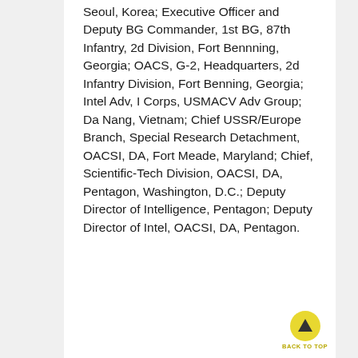Seoul, Korea; Executive Officer and Deputy BG Commander, 1st BG, 87th Infantry, 2d Division, Fort Bennning, Georgia; OACS, G-2, Headquarters, 2d Infantry Division, Fort Benning, Georgia; Intel Adv, I Corps, USMACV Adv Group; Da Nang, Vietnam; Chief USSR/Europe Branch, Special Research Detachment, OACSI, DA, Fort Meade, Maryland; Chief, Scientific-Tech Division, OACSI, DA, Pentagon, Washington, D.C.; Deputy Director of Intelligence, Pentagon; Deputy Director of Intel, OACSI, DA, Pentagon.